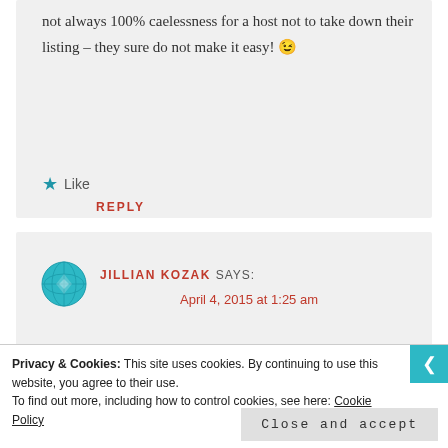not always 100% caelessness for a host not to take down their listing – they sure do not make it easy! 😉
Like
REPLY
JILLIAN KOZAK SAYS:
April 4, 2015 at 1:25 am
Privacy & Cookies: This site uses cookies. By continuing to use this website, you agree to their use. To find out more, including how to control cookies, see here: Cookie Policy
Close and accept